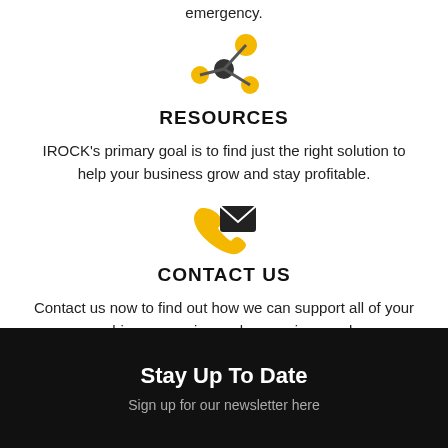emergency.
[Figure (illustration): Network/cluster icon with yellow and dark gray nodes connected by lines]
RESOURCES
IROCK's primary goal is to find just the right solution to help your business grow and stay profitable.
[Figure (illustration): Contact icons: yellow phone handset and dark envelope/mail icon]
CONTACT US
Contact us now to find out how we can support all of your crushing, screening and conveying needs.
Stay Up To Date
Sign up for our newsletter here